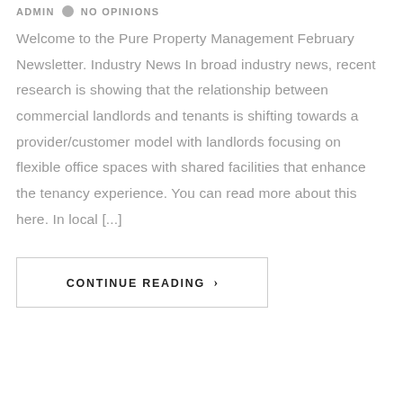ADMIN  •  NO OPINIONS
Welcome to the Pure Property Management February Newsletter. Industry News In broad industry news, recent research is showing that the relationship between commercial landlords and tenants is shifting towards a provider/customer model with landlords focusing on flexible office spaces with shared facilities that enhance the tenancy experience. You can read more about this here. In local [...]
CONTINUE READING ›